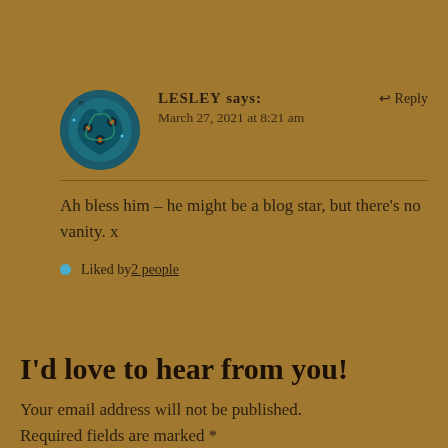LESLEY says: March 27, 2021 at 8:21 am
Reply
Ah bless him – he might be a blog star, but there's no vanity. x
Liked by 2 people
I'd love to hear from you!
Your email address will not be published. Required fields are marked *